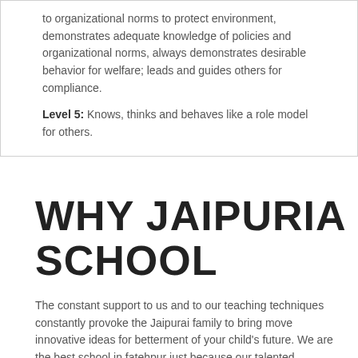to organizational norms to protect environment, demonstrates adequate knowledge of policies and organizational norms, always demonstrates desirable behavior for welfare; leads and guides others for compliance.
Level 5: Knows, thinks and behaves like a role model for others.
WHY JAIPURIA SCHOOL
The constant support to us and to our teaching techniques constantly provoke the Jaipurai family to bring move innovative ideas for betterment of your child's future. We are the best school in fatehpur just because our talented